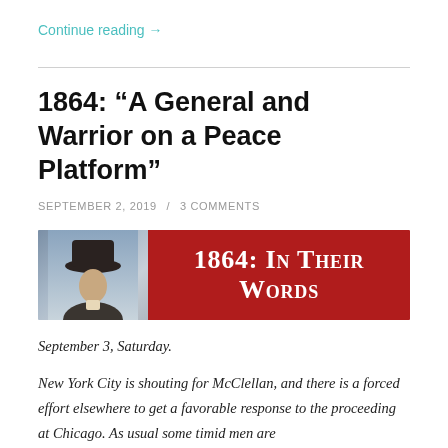Continue reading →
1864: “A General and Warrior on a Peace Platform”
SEPTEMBER 2, 2019 / 3 COMMENTS
[Figure (illustration): Banner image for '1864: In Their Words' series. Left portion shows a historical portrait of a person wearing a hat against a blue-grey background. Right portion is a dark red/crimson banner with white serif text reading '1864: IN THEIR WORDS'.]
September 3, Saturday.
New York City is shouting for McClellan, and there is a forced effort elsewhere to get a favorable response to the proceeding at Chicago. As usual some timid men are